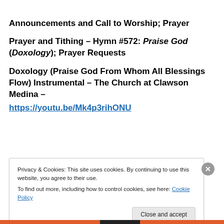Announcements and Call to Worship; Prayer
Prayer and Tithing – Hymn #572: Praise God (Doxology); Prayer Requests
Doxology (Praise God From Whom All Blessings Flow) Instrumental – The Church at Clawson Medina – https://youtu.be/Mk4p3rihONU
Privacy & Cookies: This site uses cookies. By continuing to use this website, you agree to their use. To find out more, including how to control cookies, see here: Cookie Policy
Close and accept